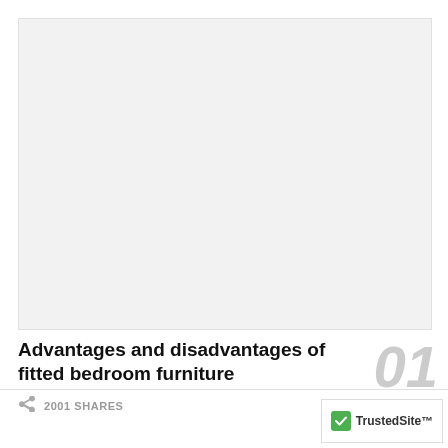[Figure (photo): Gray placeholder image area at top of page]
Advantages and disadvantages of fitted bedroom furniture
2001 SHARES
01
[Figure (logo): TrustedSite badge with green checkmark in bottom right corner]